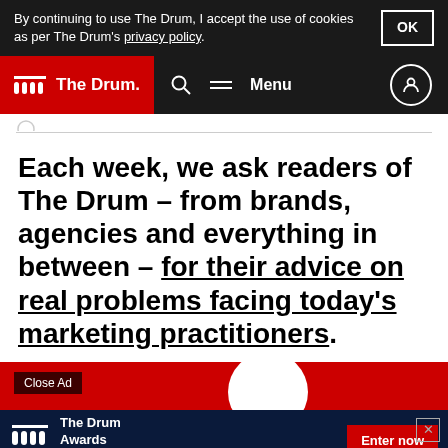By continuing to use The Drum, I accept the use of cookies as per The Drum's privacy policy. OK
The Drum — Search Menu
Each week, we ask readers of The Drum – from brands, agencies and everything in between – for their advice on real problems facing today's marketing practitioners.
[Figure (screenshot): Advertisement banner for The Drum Awards Out of Home with a red background, a Close Ad button, The Drum logo, and an Enter now button]